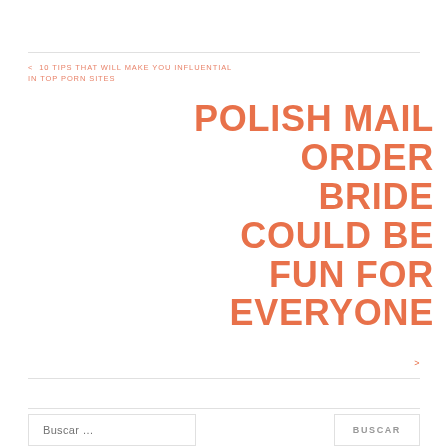< 10 TIPS THAT WILL MAKE YOU INFLUENTIAL IN TOP PORN SITES
POLISH MAIL ORDER BRIDE COULD BE FUN FOR EVERYONE
>
Buscar …
BUSCAR